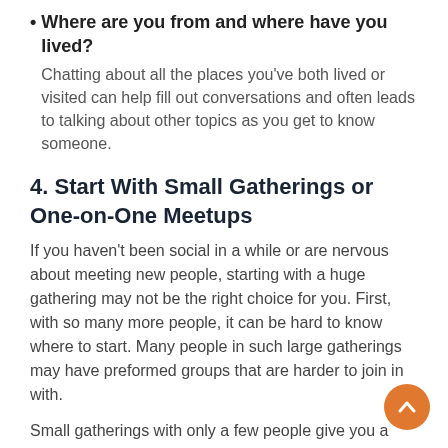• Where are you from and where have you lived? Chatting about all the places you've both lived or visited can help fill out conversations and often leads to talking about other topics as you get to know someone.
4. Start With Small Gatherings or One-on-One Meetups
If you haven't been social in a while or are nervous about meeting new people, starting with a huge gathering may not be the right choice for you. First, with so many more people, it can be hard to know where to start. Many people in such large gatherings may have preformed groups that are harder to join in with.
Small gatherings with only a few people give you a better chance of an equal footing and the ability to talk to a couple of people. They tend to be quieter and more laidback than large social gatherings, which can help if you have concerns/worries...